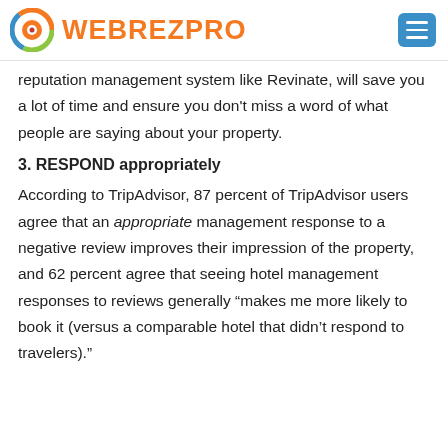WEBREZPRO
reputation management system like Revinate, will save you a lot of time and ensure you don't miss a word of what people are saying about your property.
3. RESPOND appropriately
According to TripAdvisor, 87 percent of TripAdvisor users agree that an appropriate management response to a negative review improves their impression of the property, and 62 percent agree that seeing hotel management responses to reviews generally “makes me more likely to book it (versus a comparable hotel that didn’t respond to travelers)."